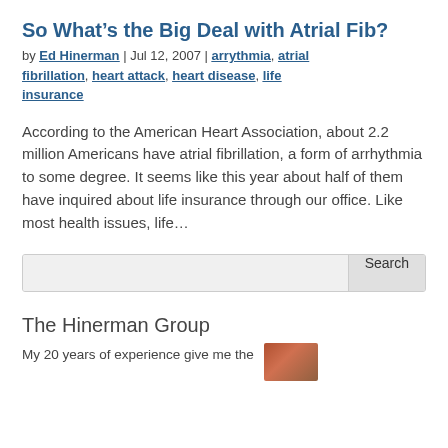So What’s the Big Deal with Atrial Fib?
by Ed Hinerman | Jul 12, 2007 | arrythmia, atrial fibrillation, heart attack, heart disease, life insurance
According to the American Heart Association, about 2.2 million Americans have atrial fibrillation, a form of arrhythmia to some degree. It seems like this year about half of them have inquired about life insurance through our office. Like most health issues, life…
Search
The Hinerman Group
My 20 years of experience give me the